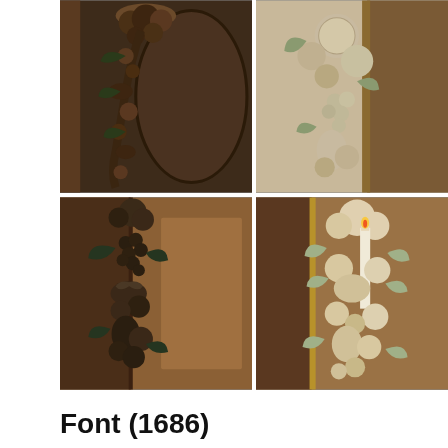[Figure (photo): Four photographs arranged in a 2x2 grid showing detailed carved wooden decorations featuring fruit and floral garlands on ornate wooden doors or panels. Top-left: dark wood carving with fruit cluster and arch. Top-right: lighter wood/stone carving with hanging fruit and vegetables. Bottom-left: dark wooden door panel with elaborate carved fruit and foliage garland. Bottom-right: lighter carved decoration with fruit, leaves and candle on wooden door.]
Font (1686)